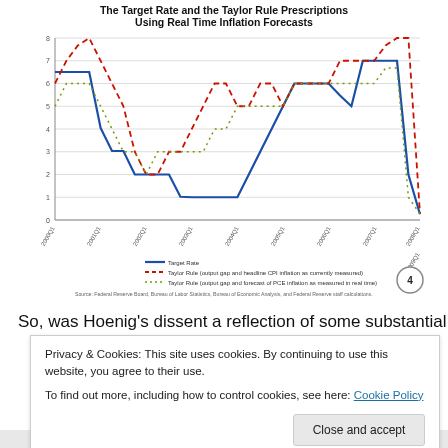[Figure (line-chart): Line chart showing Target Rate (solid blue), Taylor Rule with output gap and headline CPI inflation as currently measured (dashed red), and Taylor Rule with output gap and forecast of PCE inflation as measured in real time (dotted green/yellow), from 2000Q1 to 2009Q1. Source: Federal Reserve Board, Bureau of Labor Statistics, Bureau of Economic Analysis, and Federal Reserve staff calculations.]
So, was Hoenig's dissent a reflection of some substantial
Privacy & Cookies: This site uses cookies. By continuing to use this website, you agree to their use.
To find out more, including how to control cookies, see here: Cookie Policy